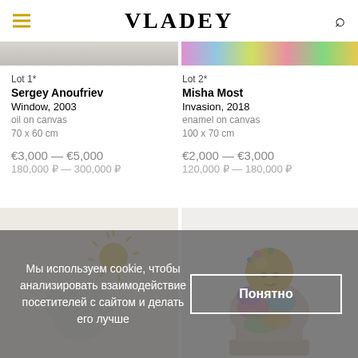VLADEY
[Figure (photo): Top portion of two artwork images cropped at the top]
Lot 1*
Sergey Anoufriev
Window, 2003
oil on canvas
70 x 60 cm

€3,000 — €5,000
180,000 ₽ — 300,000 ₽
Lot 2*
Misha Most
Invasion, 2018
enamel on canvas
100 x 70 cm

€2,000 — €3,000
120,000 ₽ — 180,000 ₽
[Figure (photo): Left artwork image showing sun and paw relief sculpture on light background]
[Figure (photo): Right artwork image showing colorful mixed-media sculpture with gold sphere]
Мы используем cookie, чтобы анализировать взаимодействие посетителей с сайтом и делать его лучше
Понятно